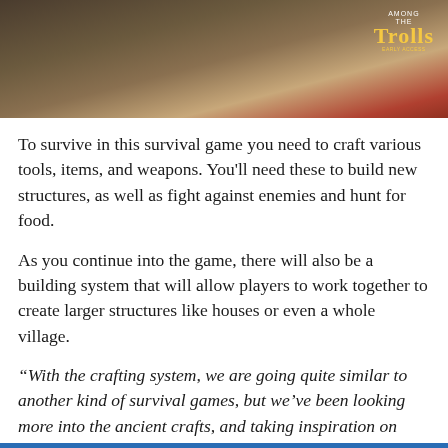[Figure (photo): Dark moody screenshot from the game 'Among the Trolls' showing what appears to be a character with a backpack, with wooden/woven textures. Logo for 'Among the Trolls' visible in top-right corner.]
To survive in this survival game you need to craft various tools, items, and weapons. You'll need these to build new structures, as well as fight against enemies and hunt for food.
As you continue into the game, there will also be a building system that will allow players to work together to create larger structures like houses or even a whole village.
“With the crafting system, we are going quite similar to another kind of survival games, but we’ve been looking more into the ancient crafts, and taking inspiration on how certain things are done in the real world. For example, how you boil or dry distillate glue: making that as close as – while being fun to play – how you would make glue in the